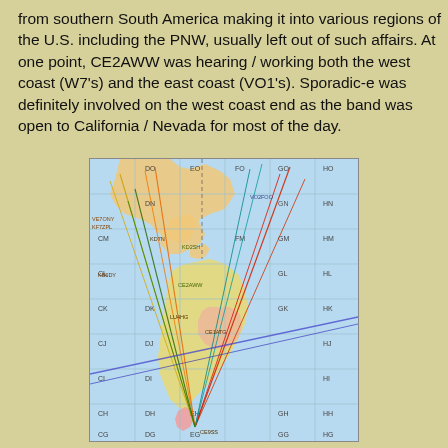from southern South America making it into various regions of the U.S. including the PNW, usually left out of such affairs. At one point, CE2AWW was hearing / working both the west coast (W7's) and the east coast (VO1's). Sporadic-e was definitely involved on the west coast end as the band was open to California / Nevada for most of the day.
[Figure (map): Ham radio grid square map of the Americas showing propagation paths (colored lines) from southern South America to various regions of North America. The map shows grid squares labeled with two-letter codes (DO, EO, FO, GO, HO, DN, EN, FN, GN, HN, CM, EM, FM, GM, HM, CL, EL, FL, GL, HL, CK, DK, EK, FK, GK, HK, CJ, DJ, EJ, FJ, GJ, HJ, CI, DI, EI, FI, GI, HI, CH, DH, EH, FH, GH, HH, CG, DG, EG, FG, GG, HG, CF, DF, EF, FF, HF). Multiple colored propagation lines (red, orange, yellow, green, blue, teal) converge from the southern tip of South America northward to various grid squares across North America.]